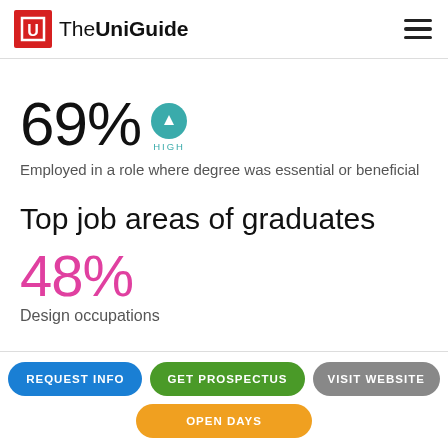The UniGuide
69% HIGH — Employed in a role where degree was essential or beneficial
Top job areas of graduates
48% Design occupations
REQUEST INFO | GET PROSPECTUS | VISIT WEBSITE | OPEN DAYS